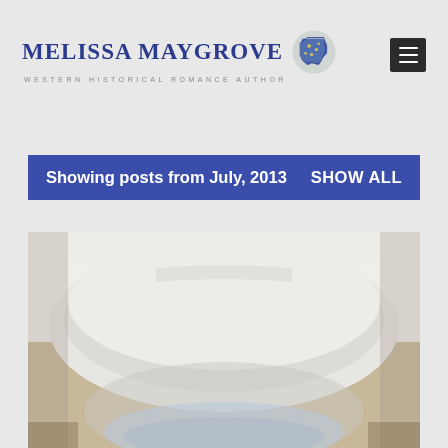Melissa Maygrove — Western Historical Romance Author
Showing posts from July, 2013    SHOW ALL
[Figure (photo): Close-up top-down photo of a white toilet with lid down, showing the toilet seat hinges and the toilet bowl partially visible at the bottom]